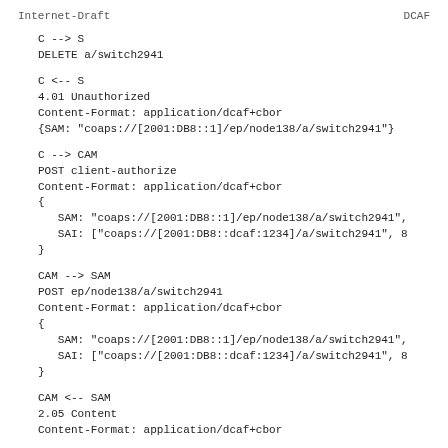Internet-Draft                          DCAF
C --> S
DELETE a/switch2941
C <-- S
4.01 Unauthorized
Content-Format: application/dcaf+cbor
{SAM: "coaps://[2001:DB8::1]/ep/node138/a/switch2941"}
C --> CAM
POST client-authorize
Content-Format: application/dcaf+cbor
{
   SAM: "coaps://[2001:DB8::1]/ep/node138/a/switch2941",
   SAI: ["coaps://[2001:DB8::dcaf:1234]/a/switch2941", 8
}
CAM --> SAM
POST ep/node138/a/switch2941
Content-Format: application/dcaf+cbor
{
   SAM: "coaps://[2001:DB8::1]/ep/node138/a/switch2941",
   SAI: ["coaps://[2001:DB8::dcaf:1234]/a/switch2941", 8
}
CAM <-- SAM
2.05 Content
Content-Format: application/dcaf+cbor